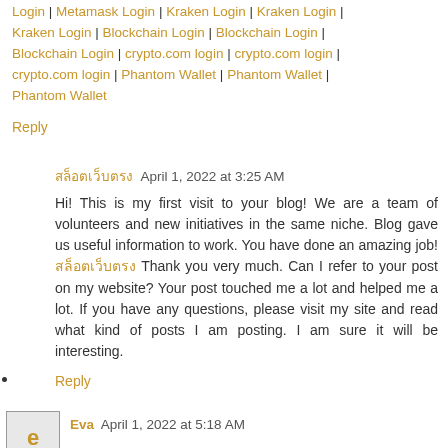Login | Metamask Login | Kraken Login | Kraken Login | Kraken Login | Blockchain Login | Blockchain Login | Blockchain Login | crypto.com login | crypto.com login | crypto.com login | Phantom Wallet | Phantom Wallet | Phantom Wallet
Reply
สล็อตเว็บตรง April 1, 2022 at 3:25 AM
Hi! This is my first visit to your blog! We are a team of volunteers and new initiatives in the same niche. Blog gave us useful information to work. You have done an amazing job! สล็อตเว็บตรง Thank you very much. Can I refer to your post on my website? Your post touched me a lot and helped me a lot. If you have any questions, please visit my site and read what kind of posts I am posting. I am sure it will be interesting.
Reply
Eva April 1, 2022 at 5:18 AM